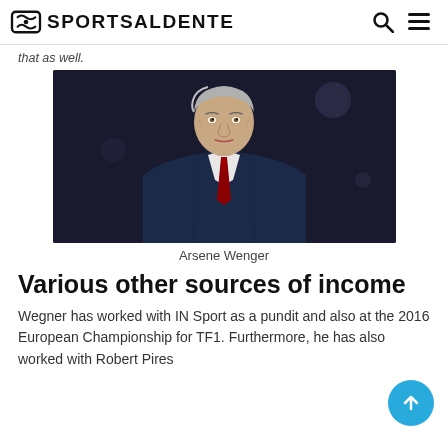SPORTSALDENTE
that as well.
[Figure (photo): Arsene Wenger in a dark navy suit with red tie, looking directly at camera, dark background.]
Arsene Wenger
Various other sources of income
Wegner has worked with IN Sport as a pundit and also at the 2016 European Championship for TF1. Furthermore, he has also worked with Robert Pires